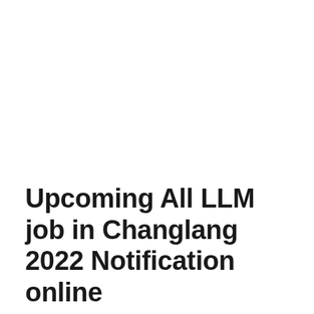Upcoming All LLM job in Changlang 2022 Notification online